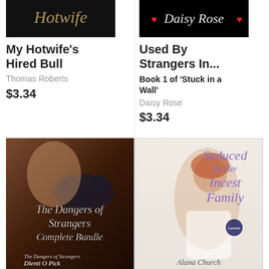[Figure (photo): Book cover for 'My Hotwife's Hired Bull' showing dark background with stylized cursive text 'Hotwife']
My Hotwife's Hired Bull
Thomas Roberts
$3.34
[Figure (photo): Book cover for 'Used By Strangers In...' showing Daisy Rose with red hearts on black background]
Used By Strangers In...
Book 1 of 'Stuck in a Wall'
Daisy Rose
$3.34
[Figure (photo): Book cover 'The Dangers of Strangers Complete Bundle' by Dlenti O Pick, showing a woman with dark floral tattoo design]
[Figure (photo): Book cover 'Seduced By Her Incest Family' by Alana Church, showing a red-haired woman in white lingerie]